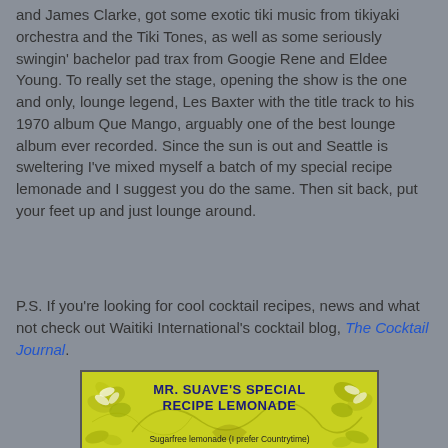and James Clarke, got some exotic tiki music from tikiyaki orchestra and the Tiki Tones, as well as some seriously swingin' bachelor pad trax from Googie Rene and Eldee Young. To really set the stage, opening the show is the one and only, lounge legend, Les Baxter with the title track to his 1970 album Que Mango, arguably one of the best lounge album ever recorded. Since the sun is out and Seattle is sweltering I've mixed myself a batch of my special recipe lemonade and I suggest you do the same. Then sit back, put your feet up and just lounge around.
P.S. If you're looking for cool cocktail recipes, news and what not check out Waitiki International's cocktail blog, The Cocktail Journal.
[Figure (illustration): A yellow-green decorative card with floral/tropical background patterns showing 'MR. SUAVE'S SPECIAL RECIPE LEMONADE' in bold dark blue uppercase text, with 'Sugarfree lemonade (I prefer Countrytime)' text below]